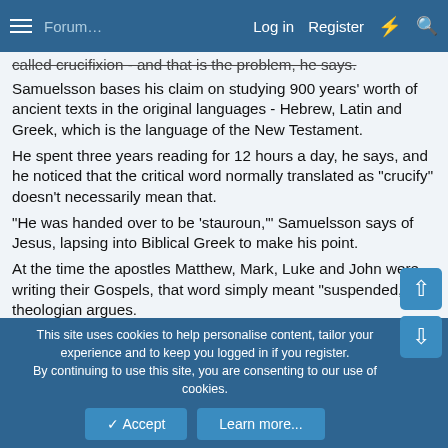Log in  Register
called crucifixion - and that is the problem, he says. Samuelsson bases his claim on studying 900 years' worth of ancient texts in the original languages - Hebrew, Latin and Greek, which is the language of the New Testament.
He spent three years reading for 12 hours a day, he says, and he noticed that the critical word normally translated as "crucify" doesn't necessarily mean that.
"He was handed over to be 'stauroun,'" Samuelsson says of Jesus, lapsing into Biblical Greek to make his point.
At the time the apostles Matthew, Mark, Luke and John were writing their Gospels, that word simply meant "suspended," the theologian argues.
"This word is used in a much wider sense than 'crucifixion,'" he says. "It refers to hanging, to suspending vines in a vineyard," or to any type of suspension.
This site uses cookies to help personalise content, tailor your experience and to keep you logged in if you register. By continuing to use this site, you are consenting to our use of cookies.